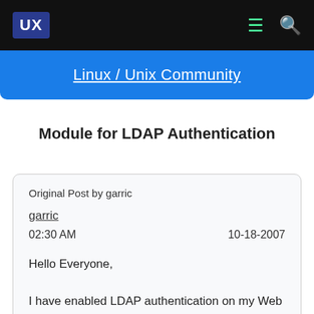UX
Linux / Unix Community
Module for LDAP Authentication
Original Post by garric
garric
02:30 AM   10-18-2007
Hello Everyone,

I have enabled LDAP authentication on my Web